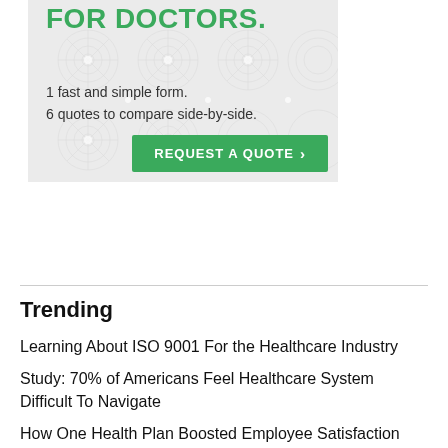[Figure (illustration): Advertisement banner with decorative circular pattern background. Title text: 'FOR DOCTORS.' in bold green. Subtext: '1 fast and simple form. 6 quotes to compare side-by-side.' Green button: 'REQUEST A QUOTE ›']
Trending
Learning About ISO 9001 For the Healthcare Industry
Study: 70% of Americans Feel Healthcare System Difficult To Navigate
How One Health Plan Boosted Employee Satisfaction Through Information Technology